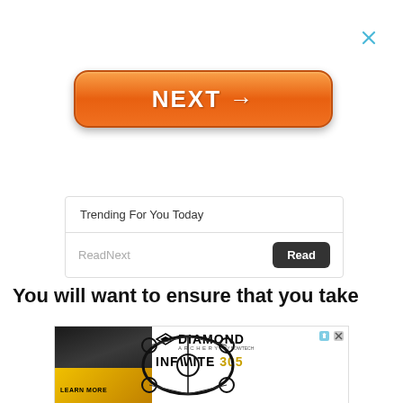[Figure (screenshot): Close/dismiss X button in blue/teal color at top right]
[Figure (screenshot): Orange rounded NEXT → button]
[Figure (screenshot): Trending For You Today widget box with ReadNext label and Read button]
You will want to ensure that you take
[Figure (illustration): Diamond Archery advertisement banner showing compound bow and INFINITE 305 branding with Learn More button and yellow/black background on left side]